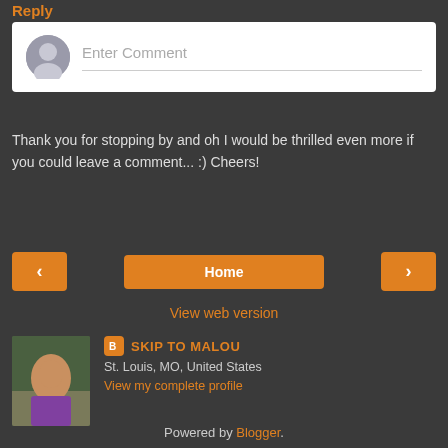Reply
[Figure (other): Comment entry box with gray avatar placeholder and 'Enter Comment' placeholder text]
Thank you for stopping by and oh I would be thrilled even more if you could leave a comment... :) Cheers!
[Figure (other): Navigation buttons: left arrow, Home button, right arrow]
View web version
[Figure (photo): Profile photo of a woman in a purple shirt]
SKIP TO MALOU
St. Louis, MO, United States
View my complete profile
Powered by Blogger.